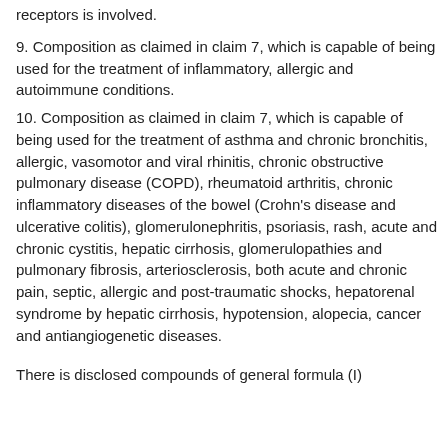receptors is involved.
9. Composition as claimed in claim 7, which is capable of being used for the treatment of inflammatory, allergic and autoimmune conditions.
10. Composition as claimed in claim 7, which is capable of being used for the treatment of asthma and chronic bronchitis, allergic, vasomotor and viral rhinitis, chronic obstructive pulmonary disease (COPD), rheumatoid arthritis, chronic inflammatory diseases of the bowel (Crohn's disease and ulcerative colitis), glomerulonephritis, psoriasis, rash, acute and chronic cystitis, hepatic cirrhosis, glomerulopathies and pulmonary fibrosis, arteriosclerosis, both acute and chronic pain, septic, allergic and post-traumatic shocks, hepatorenal syndrome by hepatic cirrhosis, hypotension, alopecia, cancer and antiangiogenetic diseases.
There is disclosed compounds of general formula (I)